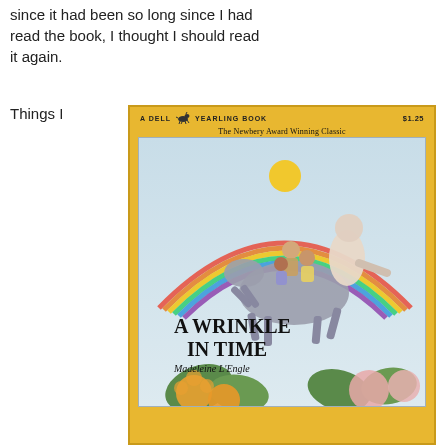since it had been so long since I had read the book, I thought I should read it again.
Things I
[Figure (photo): Book cover of 'A Wrinkle in Time' by Madeleine L'Engle. A Dell Yearling Book priced at $1.25. Labeled 'The Newbery Award Winning Classic'. Cover illustration shows children riding on a centaur-like creature with a rainbow in the background. Below the creature are flowering plants. Title 'A WRINKLE IN TIME' in large bold serif font, author 'Madeleine L'Engle' below.]